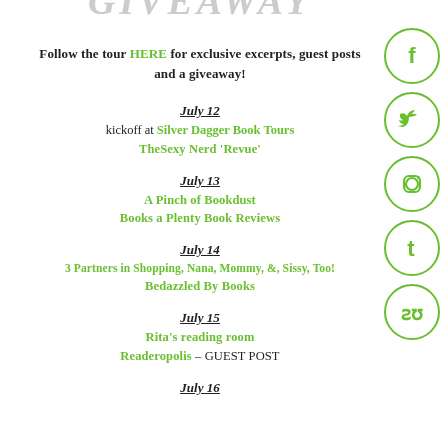GIVEAWAY
Follow the tour HERE for exclusive excerpts, guest posts and a giveaway!
July 12
kickoff at Silver Dagger Book Tours
TheSexy Nerd 'Revue'
July 13
A Pinch of Bookdust
Books a Plenty Book Reviews
July 14
3 Partners in Shopping, Nana, Mommy, &, Sissy, Too!
Bedazzled By Books
July 15
Rita's reading room
Readeropolis – GUEST POST
July 16